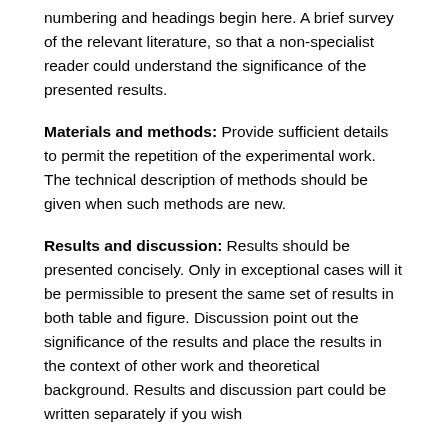numbering and headings begin here. A brief survey of the relevant literature, so that a non-specialist reader could understand the significance of the presented results.
Materials and methods: Provide sufficient details to permit the repetition of the experimental work. The technical description of methods should be given when such methods are new.
Results and discussion: Results should be presented concisely. Only in exceptional cases will it be permissible to present the same set of results in both table and figure. Discussion point out the significance of the results and place the results in the context of other work and theoretical background. Results and discussion part could be written separately if you wish
Acknowledgments: (if any) These should be placed in a separate paragraph at the end of the text, immediately before the list of references. It may include funding information too. Font size 10, the word Acknowledgements, is bold